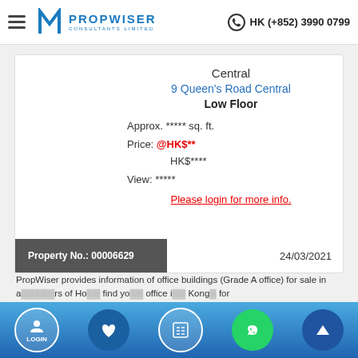PropWiser Consultants Limited | HK (+852) 3990 0799
Central
9 Queen's Road Central
Low Floor
Approx. ***** sq. ft.
Price: @HK$**
HK$****
View: *****
Please login for more info.
Property No.: 00006629
24/03/2021
PropWiser provides information of office buildings (Grade A office) for sale in a... of Ho... find yo... office i... Kong... for